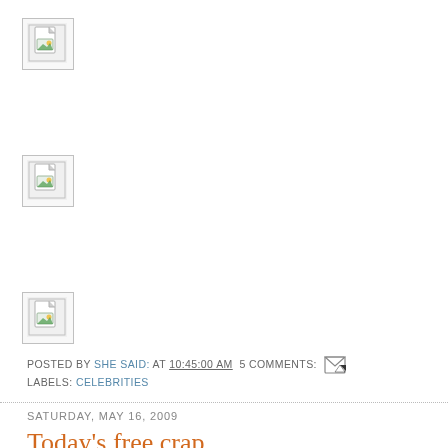[Figure (illustration): Broken image placeholder icon (first)]
[Figure (illustration): Broken image placeholder icon (second)]
[Figure (illustration): Broken image placeholder icon (third)]
POSTED BY SHE SAID: AT 10:45:00 AM  5 COMMENTS:  [email icon]
LABELS: CELEBRITIES
SATURDAY, MAY 16, 2009
Today's free crap.
Sometimes I love how random things catch my eye. Especially now, because the world is so boring. Apparently recessions cause people to not be so crazy and stand out as much.
So, today while driving through parking lot - this bit of technology caught my attention. It took me a full 300 feet for it to register on my brain. I turn to Mr